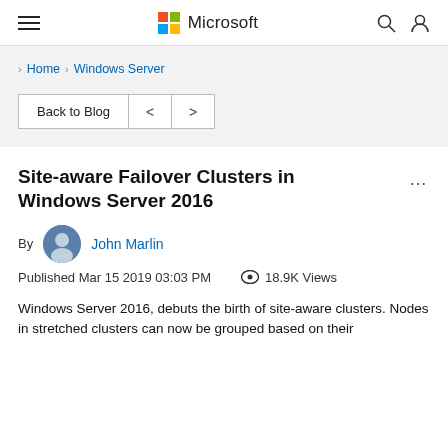Microsoft
> Home > Windows Server
Back to Blog < >
Site-aware Failover Clusters in Windows Server 2016
By John Marlin
Published Mar 15 2019 03:03 PM  18.9K Views
Windows Server 2016, debuts the birth of site-aware clusters. Nodes in stretched clusters can now be grouped based on their